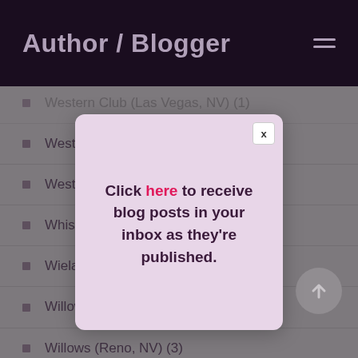Author / Blogger
Western Club (Las Vegas, NV) (1)
Western News Co. (Wire Service) (1)
Westerner (Las …)
Whiskey Pete's … n, NV) (1)
Wieland Saloon …
Willow Tree (Colma, CA) (2)
Willows (Reno, NV) (3)
Wine House (Reno, NV) (2)
[Figure (screenshot): Modal popup with text: Click here to receive blog posts in your inbox as they're published. Pink/lavender background with close button X.]